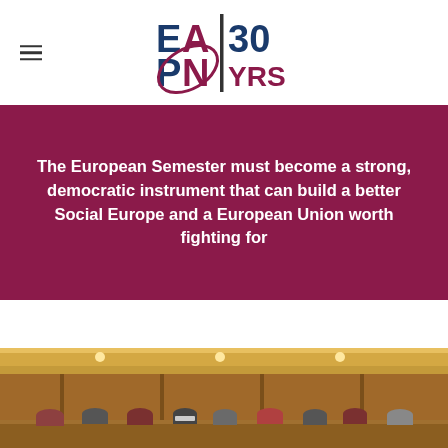EAPN 30 YRS logo with hamburger menu
The European Semester must become a strong, democratic instrument that can build a better Social Europe and a European Union worth fighting for
[Figure (photo): Conference room scene with people seated at a long table, appearing to be in a meeting or panel discussion. Tags overlay the image: EAPN News, Featured.]